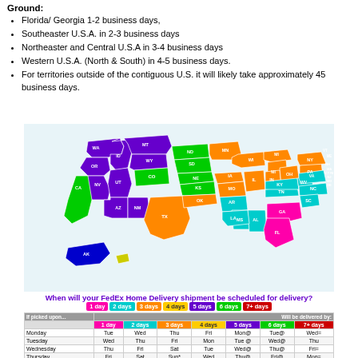Ground:
Florida/ Georgia 1-2 business days,
Southeaster U.S.A. in 2-3 business days
Northeaster and Central U.S.A in 3-4 business days
Western U.S.A. (North & South) in 4-5 business days.
For territories outside of the contiguous U.S. it will likely take approximately 45 business days.
[Figure (map): Colored map of the United States showing FedEx Home Delivery shipping zones by number of business days. States are colored: pink/magenta (FL, GA area - 1 day), cyan (southeastern states - 2 days), orange (central states - 3 days), green (some western/mountain states - 4 days), purple (far western states - 5 days), blue (Alaska - 6 days), yellow (Hawaii area).]
When will your FedEx Home Delivery shipment be scheduled for delivery?
| If picked upon... | 1 day | 2 days | 3 days | 4 days | 5 days | 6 days | 7+ days |
| --- | --- | --- | --- | --- | --- | --- | --- |
| Monday | Tue | Wed | Thu | Fri | Mon@ | Tue@ | Wed= |
| Tuesday | Wed | Thu | Fri | Mon | Tue @ | Wed@ | Thu |
| Wednesday | Thu | Fri | Sat | Tue | Wed@ | Thu@ | Fri= |
| Thursday | Fri | Sat | Sun* | Wed | Thu@ | Fri@ | Mon= |
| Friday | Sat | Sun* | Mon | Thu | Fri@ | Mon@ | Tue= |
| Saturday | Tue* | Wed | Thu | Fri | Mon@ | Tue@ | Wed= |
| Sunday | Tue** | Wed | Thu | Fri | Mon@ | Tue@ | Wed= |
*Sunday* delivery if the shipper is enrolled in weekend spotted trailer pickups
**Monday delivery if the shipper is enrolled in weekend spotted trailer pickups
*Monday if not a Sunday eligible ZIP code
@ The following week
= Earliest possible delivery the following week
This map illustrates service schedules in business days as of July 2020 for FedEx Home Delivery shipments
© 2018 FedEx. All rights reserved.